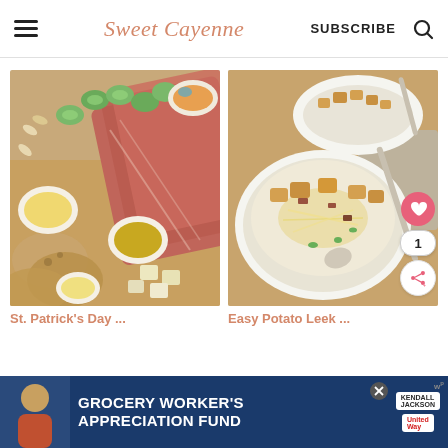Sweet Cayenne — SUBSCRIBE
[Figure (photo): Overhead shot of a charcuterie/grazing board with sliced corned beef, cucumbers, bread, mustard, butter, hummus, and cheese cubes]
[Figure (photo): Bowl of potato leek soup topped with croutons, shredded cheese, bacon, and green onions, with a spoon, on a wooden board]
St. Patrick's Day ...
Easy Potato Leek ...
[Figure (screenshot): Grocery Worker's Appreciation Fund advertisement with Kendall-Jackson and United Way logos]